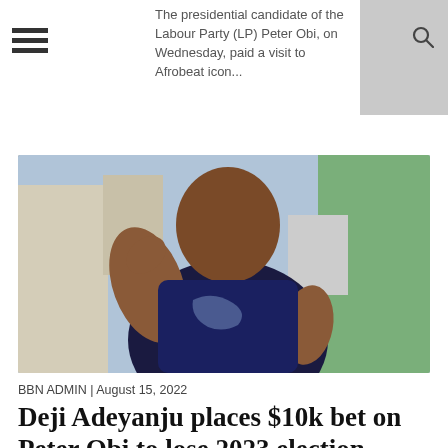The presidential candidate of the Labour Party (LP) Peter Obi, on Wednesday, paid a visit to Afrobeat icon...
[Figure (photo): Man in navy blue shirt pointing finger, speaking outdoors]
BBN ADMIN | August 15, 2022
Deji Adeyanju places $10k bet on Peter Obi to lose 2023 election
Nigerian political activist, Deyi Adeyanju has caused a stir on social media after placing a